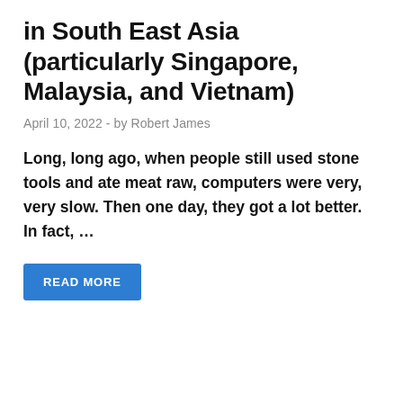in South East Asia (particularly Singapore, Malaysia, and Vietnam)
April 10, 2022  -  by Robert James
Long, long ago, when people still used stone tools and ate meat raw, computers were very, very slow. Then one day, they got a lot better. In fact, …
READ MORE